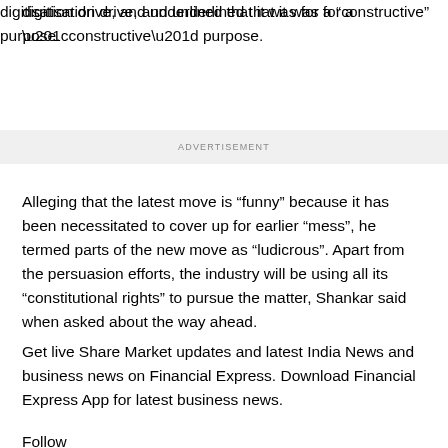digitisation drive, and underlined that it was for a “constructive” purpose.
ADVERTISEMENT
Alleging that the latest move is “funny” because it has been necessitated to cover up for earlier “mess”, he termed parts of the new move as “ludicrous”. Apart from the persuasion efforts, the industry will be using all its “constitutional rights” to pursue the matter, Shankar said when asked about the way ahead.
Get live Share Market updates and latest India News and business news on Financial Express. Download Financial Express App for latest business news.
Follow